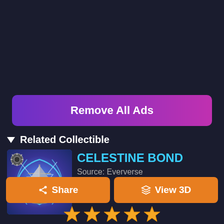[Figure (screenshot): Remove All Ads button with purple/magenta gradient background]
▼ Related Collectible
[Figure (illustration): Celestine Bond collectible item thumbnail showing a ship with blue energy/lightning effects on purple background]
CELESTINE BOND
Source: Eververse
[Figure (screenshot): Share button (orange) and View 3D button (orange) side by side]
[Figure (illustration): Row of star rating icons at bottom of page]